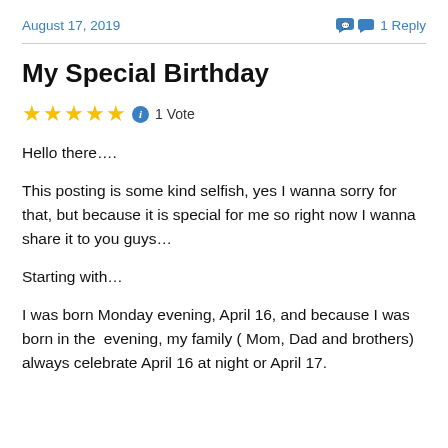August 17, 2019   💬 1 Reply
My Special Birthday
★★★★★ ℹ 1 Vote
Hello there….
This posting is some kind selfish, yes I wanna sorry for that, but because it is special for me so right now I wanna share it to you guys…
Starting with…
I was born Monday evening, April 16, and because I was born in the  evening, my family ( Mom, Dad and brothers) always celebrate April 16 at night or April 17.